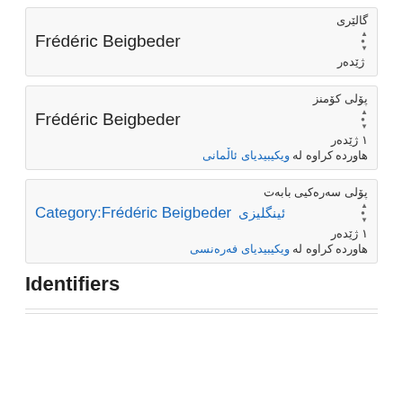گالێری
Frédéric Beigbeder
‌ ژێدەر
پۆلی کۆمنز
Frédéric Beigbeder
١ ژێدەر
هاوردە کراوە لە ویکیبیدیای ئاڵمانی
پۆلی سەرەکیی بابەت
ئینگلیزی Category:Frédéric Beigbeder
١ ژێدەر
هاوردە کراوە لە ویکیبیدیای فەرەنسی
Identifiers